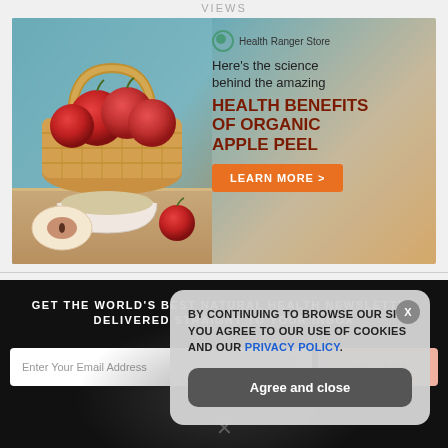VIEWS
[Figure (illustration): Health Ranger Store advertisement banner showing a basket of red apples and a bowl of apple peel powder on a wooden surface, with text: Here's the science behind the amazing HEALTH BENEFITS OF ORGANIC APPLE PEEL, and a LEARN MORE > button]
GET THE WORLD'S BEST NATURAL HEALTH NEWSLETTER DELIVERED STRAIGHT TO YOUR INBOX
Enter Your Email Address
SUBSCRIBE
BY CONTINUING TO BROWSE OUR SITE YOU AGREE TO OUR USE OF COOKIES AND OUR PRIVACY POLICY.
Agree and close